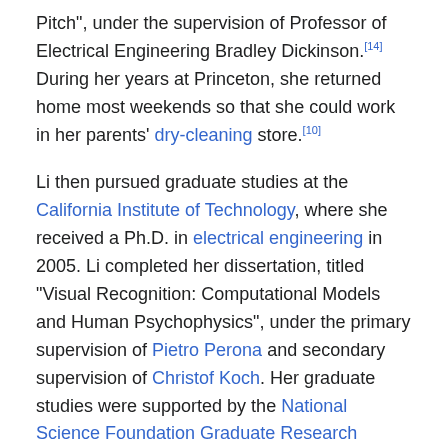Pitch", under the supervision of Professor of Electrical Engineering Bradley Dickinson.[14] During her years at Princeton, she returned home most weekends so that she could work in her parents' dry-cleaning store.[10]
Li then pursued graduate studies at the California Institute of Technology, where she received a Ph.D. in electrical engineering in 2005. Li completed her dissertation, titled "Visual Recognition: Computational Models and Human Psychophysics", under the primary supervision of Pietro Perona and secondary supervision of Christof Koch. Her graduate studies were supported by the National Science Foundation Graduate Research Fellowship and The Paul & Daisy Soros Fellowships for New Americans.[15]
Career
From 2005 to August 2009, Li was an assistant professor in the Electrical and Computer Engineering Department at University of Illinois Urbana-Champaign and Computer Science